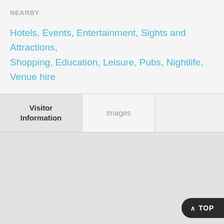NEARBY
Hotels, Events, Entertainment, Sights and Attractions, Shopping, Education, Leisure, Pubs, Nightlife, Venue hire
Visitor Information
Images